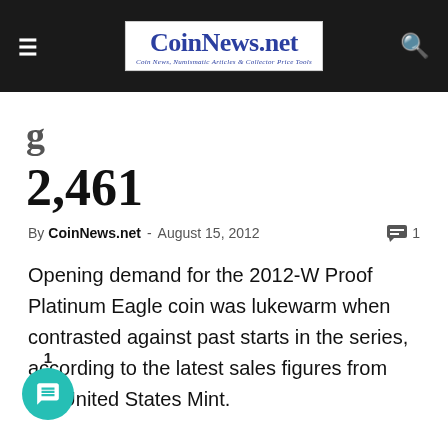CoinNews.net — Coin News, Numismatic Articles & Collector Price Tools
2,461
By CoinNews.net - August 15, 2012   1
Opening demand for the 2012-W Proof Platinum Eagle coin was lukewarm when contrasted against past starts in the series, according to the latest sales figures from the United States Mint.